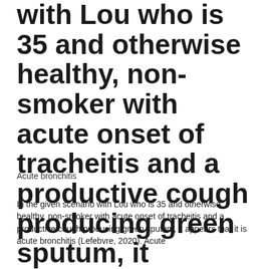with Lou who is 35 and otherwise healthy, non-smoker with acute onset of tracheitis and a productive cough producing green sputum, it appears that it is acute bronchitis
Acute bronchitis
In the given scenario with Lou who is 35 and otherwise healthy, non-smoker with acute onset of tracheitis and a productive cough producing green sputum, it appears that it is acute bronchitis (Lefebvre, 2020). Acute